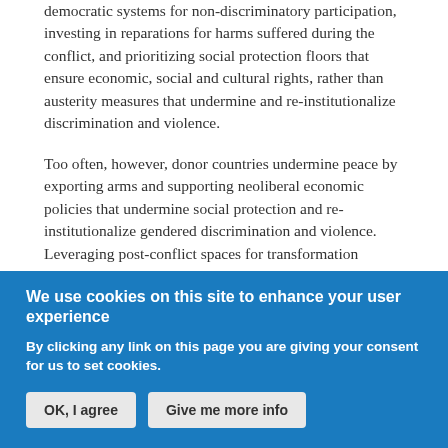democratic systems for non-discriminatory participation, investing in reparations for harms suffered during the conflict, and prioritizing social protection floors that ensure economic, social and cultural rights, rather than austerity measures that undermine and re-institutionalize discrimination and violence.
Too often, however, donor countries undermine peace by exporting arms and supporting neoliberal economic policies that undermine social protection and re-institutionalize gendered discrimination and violence. Leveraging post-conflict spaces for transformation requires a global governance system that holds arms exporting and developed countries accountable for so-
We use cookies on this site to enhance your user experience
By clicking any link on this page you are giving your consent for us to set cookies.